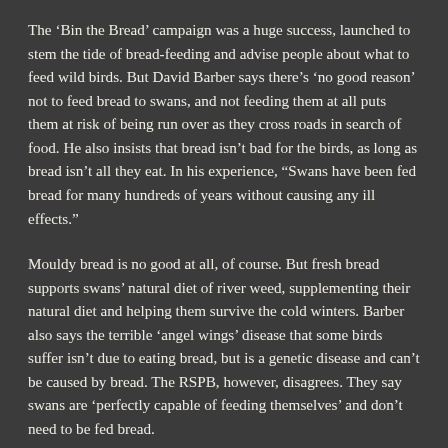The 'Bin the Bread' campaign was a huge success, launched to stem the tide of bread-feeding and advise people about what to feed wild birds. But David Barber says there's 'no good reason' not to feed bread to swans, and not feeding them at all puts them at risk of being run over as they cross roads in search of food. He also insists that bread isn't bad for the birds, as long as bread isn't all they eat. In his experience, "Swans have been fed bread for many hundreds of years without causing any ill effects."
Mouldy bread is no good at all, of course. But fresh bread supports swans' natural diet of river weed, supplementing their natural diet and helping them survive the cold winters. Barber also says the terrible 'angel wings' disease that some birds suffer isn't due to eating bread, but is a genetic disease and can't be caused by bread. The RSPB, however, disagrees. They say swans are 'perfectly capable of feeding themselves' and don't need to be fed bread.